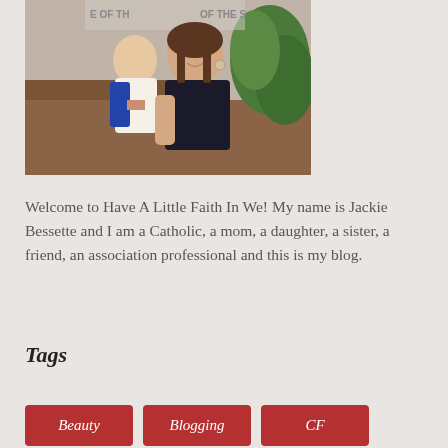[Figure (photo): A woman smiling and holding a young girl, standing in front of a sign with plants visible in the background]
Welcome to Have A Little Faith In We! My name is Jackie Bessette and I am a Catholic, a mom, a daughter, a sister, a friend, an association professional and this is my blog.
Tags
Beauty
Blogging
CF